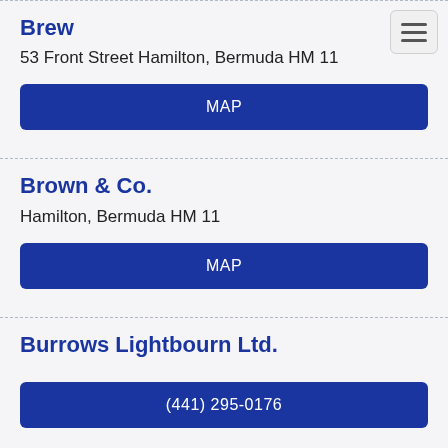Brew
53 Front Street Hamilton, Bermuda HM 11
MAP
Brown & Co.
Hamilton, Bermuda HM 11
MAP
Burrows Lightbourn Ltd.
(441) 295-0176